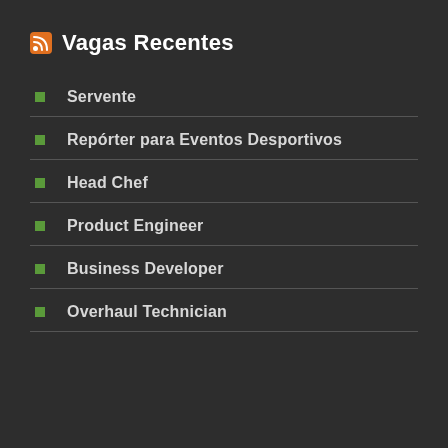Vagas Recentes
Servente
Repórter para Eventos Desportivos
Head Chef
Product Engineer
Business Developer
Overhaul Technician